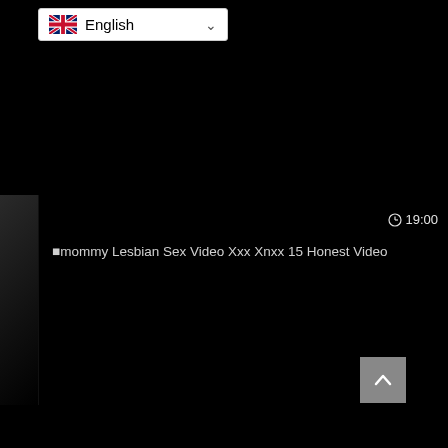[Figure (screenshot): Language selector dropdown showing UK flag and 'English' text with chevron]
[Figure (screenshot): Dark video thumbnail with timestamp 19:00 and video title text on black background with back-to-top button]